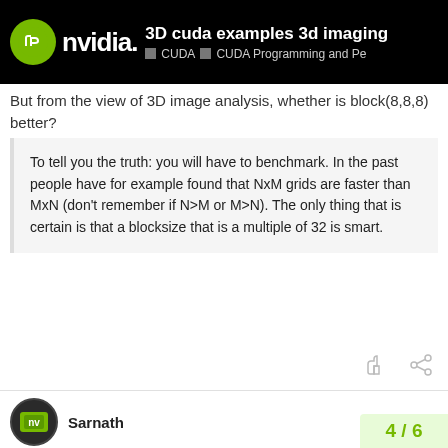3D cuda examples 3d imaging — CUDA · CUDA Programming and Pe
But from the view of 3D image analysis, whether is block(8,8,8) better?
To tell you the truth: you will have to benchmark. In the past people have for example found that NxM grids are faster than MxN (don't remember if N>M or M>N). The only thing that is certain is that a blocksize that is a multiple of 32 is smart.
Sarnath  Apr 06 '09
Thank you for your advice.

But from the view of 3D image analysis, whether is block(8,8,8) better?